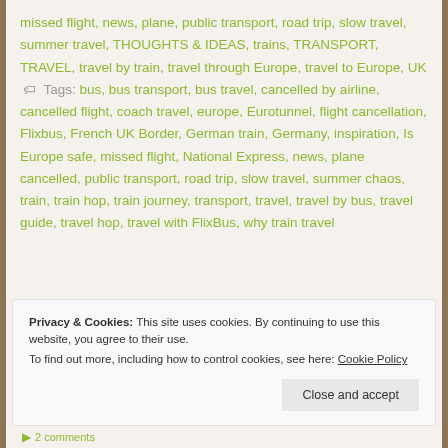missed flight, news, plane, public transport, road trip, slow travel, summer travel, THOUGHTS & IDEAS, trains, TRANSPORT, TRAVEL, travel by train, travel through Europe, travel to Europe, UK  Tags: bus, bus transport, bus travel, cancelled by airline, cancelled flight, coach travel, europe, Eurotunnel, flight cancellation, Flixbus, French UK Border, German train, Germany, inspiration, Is Europe safe, missed flight, National Express, news, plane cancelled, public transport, road trip, slow travel, summer chaos, train, train hop, train journey, transport, travel, travel by bus, travel guide, travel hop, travel with FlixBus, why train travel
Privacy & Cookies: This site uses cookies. By continuing to use this website, you agree to their use. To find out more, including how to control cookies, see here: Cookie Policy